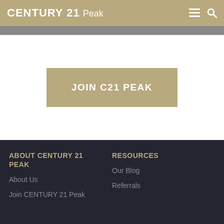CENTURY 21 Peak
JOIN C21 PEAK
ABOUT CENTURY 21 PEAK
About Us
Join CENTURY 21 Peak
RESOURCES
Our Blog
Referrals